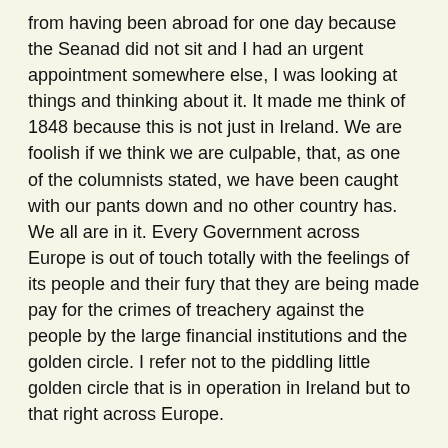from having been abroad for one day because the Seanad did not sit and I had an urgent appointment somewhere else, I was looking at things and thinking about it. It made me think of 1848 because this is not just in Ireland. We are foolish if we think we are culpable, that, as one of the columnists stated, we have been caught with our pants down and no other country has. We all are in it. Every Government across Europe is out of touch totally with the feelings of its people and their fury that they are being made pay for the crimes of treachery against the people by the large financial institutions and the golden circle. I refer not to the piddling little golden circle that is in operation in Ireland but to that right across Europe.
I must say with great sadness that I always have had a regard for the Minister for Finance, Deputy Brian Lenihan. As a Minister, he has behaved with integrity and courage in confronting difficult problems, both in his personal life with regard to his health and also with regard to the economy. However, I remember stating in this House that I did not agree with the approach taken by the Government. I voted against the bank guarantee. I came up three months before NAMA with an idea that was not entirely unlike NAMA and I warned that I felt the Government was doing it backwards and was getting it wrong. What I was saying and doing throughout that period of approximately a year was noted by a remarkable man of whom I had never heard previously, Mr. Peter Mathews. He stated that the broad outline of what I was saying was